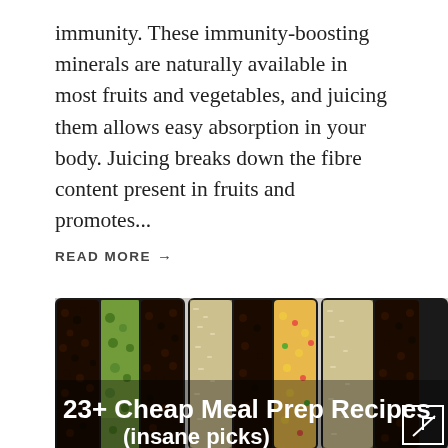immunity. These immunity-boosting minerals are naturally available in most fruits and vegetables, and juicing them allows easy absorption in your body. Juicing breaks down the fibre content present in fruits and promotes...
READ MORE →
[Figure (photo): Overhead view of meal prep containers filled with black beans, rice, broccoli, corn and peppers. Text overlay reads '23+ Cheap Meal Prep Recipes (insane picks)']